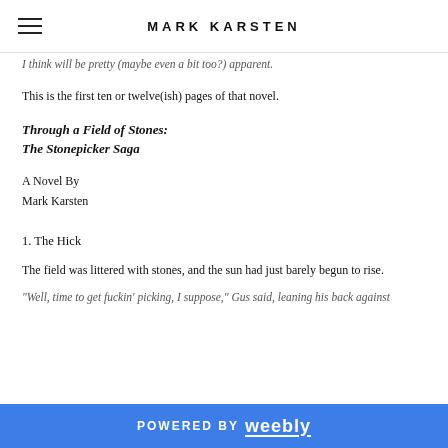MARK KARSTEN
I think will be pretty (maybe even a bit too?) apparent.
This is the first ten or twelve(ish) pages of that novel.
Through a Field of Stones:
The Stonepicker Saga
A Novel By
Mark Karsten
1. The Hick
The field was littered with stones, and the sun had just barely begun to rise.
"Well, time to get fuckin' picking, I suppose," Gus said, leaning his back against
POWERED BY weebly